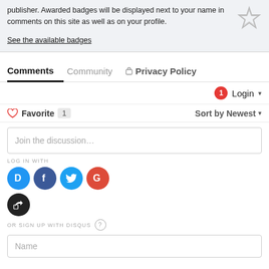publisher. Awarded badges will be displayed next to your name in comments on this site as well as on your profile.
See the available badges
Comments   Community   Privacy Policy
1  Login
Favorite  1    Sort by Newest
Join the discussion…
LOG IN WITH
[Figure (other): Social login icons: Disqus (D), Facebook (f), Twitter bird, Google (G), and a share/return icon]
OR SIGN UP WITH DISQUS ?
Name